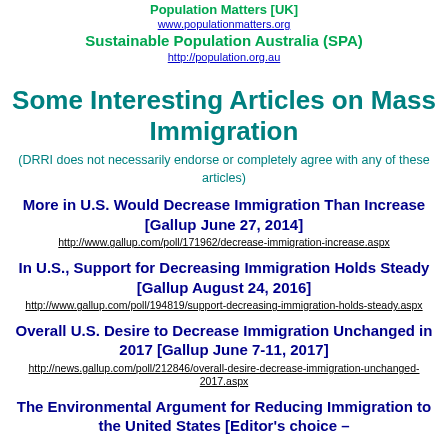Population Matters [UK]
www.populationmatters.org
Sustainable Population Australia (SPA)
http://population.org.au
Some Interesting Articles on Mass Immigration
(DRRI does not necessarily endorse or completely agree with any of these articles)
More in U.S. Would Decrease Immigration Than Increase [Gallup June 27, 2014]
http://www.gallup.com/poll/171962/decrease-immigration-increase.aspx
In U.S., Support for Decreasing Immigration Holds Steady [Gallup August 24, 2016]
http://www.gallup.com/poll/194819/support-decreasing-immigration-holds-steady.aspx
Overall U.S. Desire to Decrease Immigration Unchanged in 2017 [Gallup June 7-11, 2017]
http://news.gallup.com/poll/212846/overall-desire-decrease-immigration-unchanged-2017.aspx
The Environmental Argument for Reducing Immigration to the United States [Editor's choice –